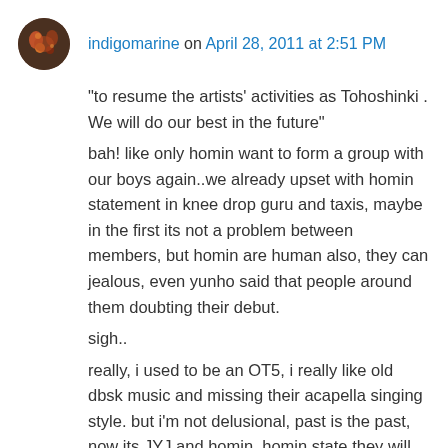indigomarine on April 28, 2011 at 2:51 PM
“to resume the artists’ activities as Tohoshinki . We will do our best in the future”
bah! like only homin want to form a group with our boys again..we already upset with homin statement in knee drop guru and taxis, maybe in the first its not a problem between members, but homin are human also, they can jealous, even yunho said that people around them doubting their debut.
sigh..
really, i used to be an OT5, i really like old dbsk music and missing their acapella singing style. but i’m not delusional, past is the past, now its JYJ and homin, homin state they will never out homin JYJ, homin state they will never out